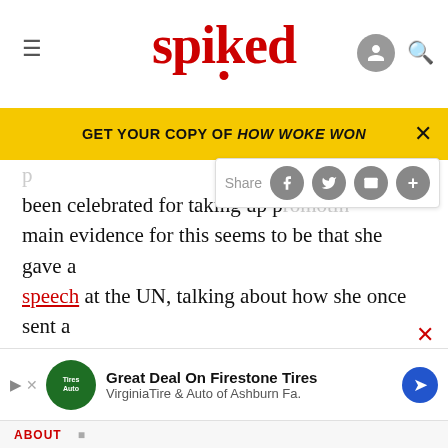spiked
GET YOUR COPY OF HOW WOKE WON
been celebrated for taking up p[romoting...] main evidence for this seems to be that she gave a speech at the UN, talking about how she once sent a letter of complaint to a soap company over its sexist ads, and once wrote a piece for Elle about how, as a biracial woman, she struggled with her identity. If that's the bar, then left politics is dead. Over. Swallowed by narcissism and navel-gazing. The weird joy over Markle, Generation Woke's Princess Diana,
[Figure (screenshot): Advertisement for Firestone Tires / Virginia Tire & Auto of Ashburn Fa.]
ABOUT